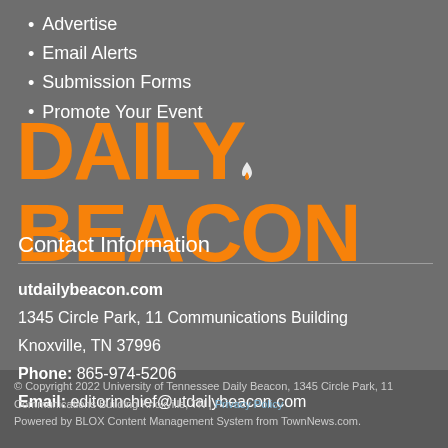Advertise
Email Alerts
Submission Forms
Promote Your Event
[Figure (logo): Daily Beacon logo in large bold orange text with a flame icon]
Contact Information
utdailybeacon.com
1345 Circle Park, 11 Communications Building
Knoxville, TN 37996
Phone: 865-974-5206
Email: editorinchief@utdailybeacon.com
© Copyright 2022 University of Tennessee Daily Beacon, 1345 Circle Park, 11 Communications Building Knoxville, TN | Privacy Policy
Powered by BLOX Content Management System from TownNews.com.